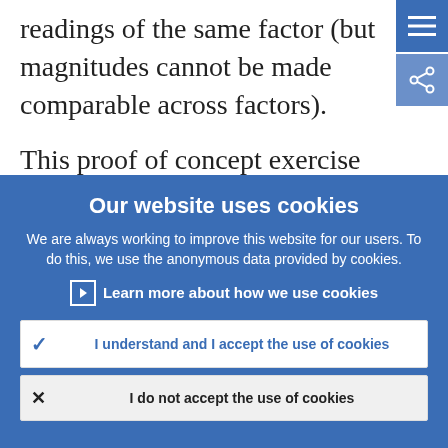readings of the same factor (but magnitudes cannot be made comparable across factors).
This proof of concept exercise shows that
[Figure (screenshot): Blue menu hamburger button in top-right corner]
[Figure (screenshot): Blue share/network icon button below menu button]
Our website uses cookies
We are always working to improve this website for our users. To do this, we use the anonymous data provided by cookies.
Learn more about how we use cookies
I understand and I accept the use of cookies
I do not accept the use of cookies